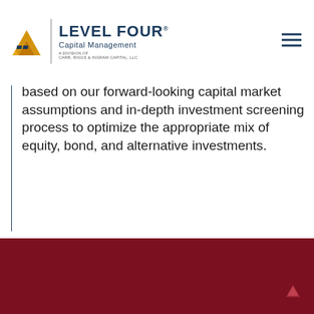[Figure (logo): Level Four Capital Management logo — geometric gold/yellow icon, vertical divider, dark navy text 'LEVEL FOUR Capital Management', subtitle 'A Division of Carr, Riggs & Ingram Capital, LLC']
based on our forward-looking capital market assumptions and in-depth investment screening process to optimize the appropriate mix of equity, bond, and alternative investments.